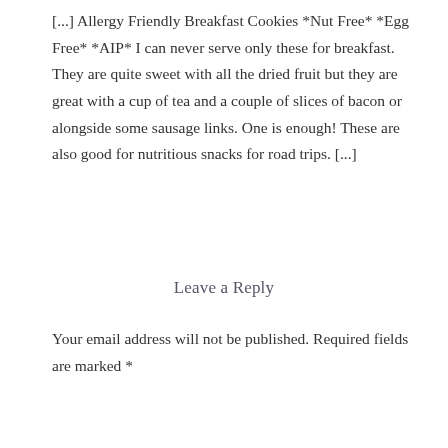[...] Allergy Friendly Breakfast Cookies *Nut Free* *Egg Free* *AIP* I can never serve only these for breakfast. They are quite sweet with all the dried fruit but they are great with a cup of tea and a couple of slices of bacon or alongside some sausage links. One is enough! These are also good for nutritious snacks for road trips. [...]
Leave a Reply
Your email address will not be published. Required fields are marked *